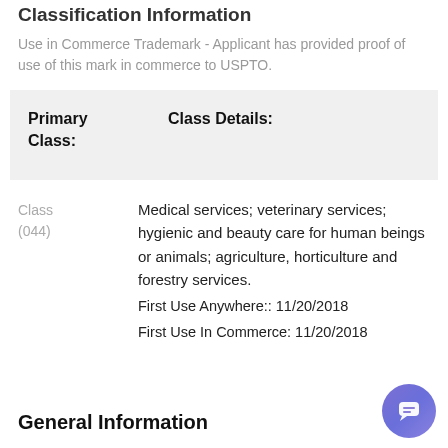Classification Information
Use in Commerce Trademark - Applicant has provided proof of use of this mark in commerce to USPTO.
| Primary Class: | Class Details: |
| --- | --- |
Class (044)
Medical services; veterinary services; hygienic and beauty care for human beings or animals; agriculture, horticulture and forestry services.
First Use Anywhere:: 11/20/2018
First Use In Commerce: 11/20/2018
General Information
[Figure (illustration): Purple circular chat support button with speech bubble icon in bottom right corner]